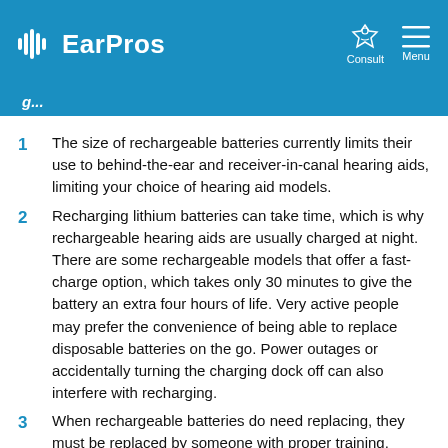EarPros
The size of rechargeable batteries currently limits their use to behind-the-ear and receiver-in-canal hearing aids, limiting your choice of hearing aid models.
Recharging lithium batteries can take time, which is why rechargeable hearing aids are usually charged at night. There are some rechargeable models that offer a fast-charge option, which takes only 30 minutes to give the battery an extra four hours of life. Very active people may prefer the convenience of being able to replace disposable batteries on the go. Power outages or accidentally turning the charging dock off can also interfere with recharging.
When rechargeable batteries do need replacing, they must be replaced by someone with proper training,